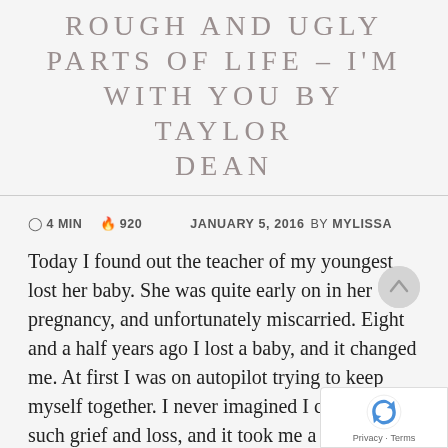ROUGH AND UGLY PARTS OF LIFE – I'M WITH YOU BY TAYLOR DEAN
⊙ 4 MIN  🔥 920    JANUARY 5, 2016  BY MYLISSA
Today I found out the teacher of my youngest lost her baby. She was quite early on in her pregnancy, and unfortunately miscarried. Eight and a half years ago I lost a baby, and it changed me. At first I was on autopilot trying to keep myself together. I never imagined I could feel such grief and loss, and it took me a whole while to feel like I was me again.
I remember I was not so far along, so not many